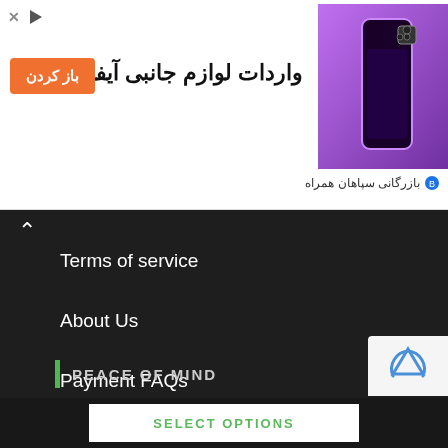[Figure (screenshot): Advertisement banner for iPhone 14 accessories import with orange button and purple iPhone image, Persian text]
Terms of service
About Us
Payment FAQs
PEACE OF MIND
Your privacy is the highest priority of our dedicated team. And if you ever need assistance, we are always ready to step in for support.
SELECT OPTIONS